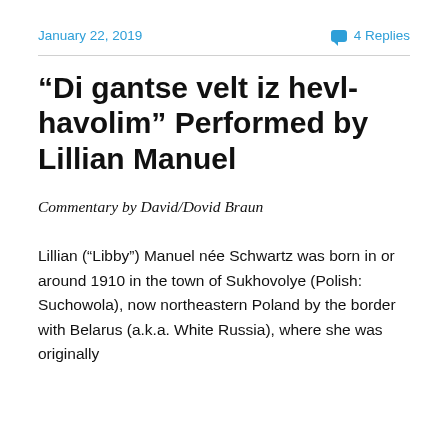January 22, 2019    💬 4 Replies
“Di gantse velt iz hevl-havolim” Performed by Lillian Manuel
Commentary by David/Dovid Braun
Lillian (“Libby”) Manuel née Schwartz was born in or around 1910 in the town of Sukhovolye (Polish: Suchowola), now northeastern Poland by the border with Belarus (a.k.a. White Russia), where she was originally